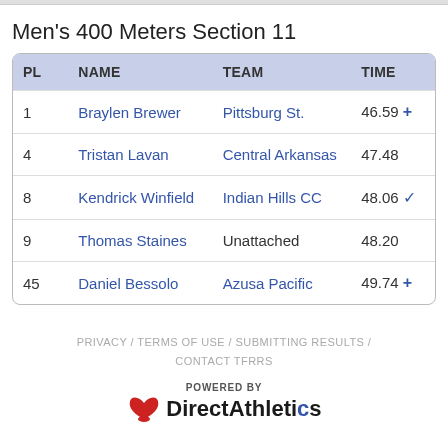Men's 400 Meters Section 11
| PL | NAME | TEAM | TIME |
| --- | --- | --- | --- |
| 1 | Braylen Brewer | Pittsburg St. | 46.59 + |
| 4 | Tristan Lavan | Central Arkansas | 47.48 |
| 8 | Kendrick Winfield | Indian Hills CC | 48.06 ✓ |
| 9 | Thomas Staines | Unattached | 48.20 |
| 45 | Daniel Bessolo | Azusa Pacific | 49.74 + |
PRIVACY / TERMS OF USE / SUBMITTING RESULTS / CONTACT TFRRS
[Figure (logo): Powered by DirectAthletics logo with bird graphic]